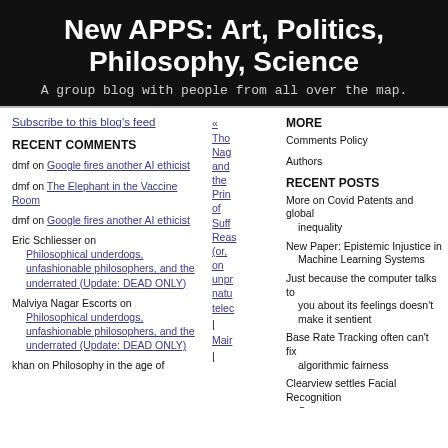New APPS: Art, Politics, Philosophy, Science
A group blog with people from all over the map.
Subscribe to this blog's feed
RECENT COMMENTS
dmf on Google fires another AI ethicist
dmf on The Elephant in the Vaccine Room
dmf on Google fires another AI ethicist
Eric Schliesser on Philosophical underdogs, unfashionable philosophers, and the underrated (Update: DEAD ONLY)
Malviya Nagar Escorts on Philosophical underdogs, unfashionable philosophers, and the underrated (Update: DEAD ONLY)
khan on Philosophy in the age of
« Thomas Nagel and the Prince of Sufficient Reason (or, on unproblematic naturalistic teleology) | Main |
MORE
Comments Policy
Authors
RECENT POSTS
More on Covid Patents and global inequality
New Paper: Epistemic Injustice in Machine Learning Systems
Just because the computer talks to you about its feelings doesn't make it sentient
Base Rate Tracking often can't fix algorithmic fairness
Clearview settles Facial Recognition Case